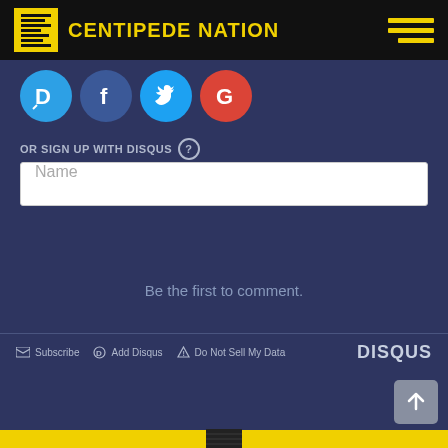CENTIPEDE NATION
[Figure (logo): Social login icons: Disqus (blue D), Facebook (dark blue f), Twitter (light blue bird), Google (red G)]
OR SIGN UP WITH DISQUS ?
Name
Be the first to comment.
Subscribe   Add Disqus   Do Not Sell My Data   DISQUS